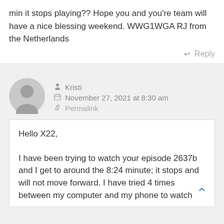min it stops playing?? Hope you and you're team will have a nice blessing weekend. WWG1WGA RJ from the Netherlands
Reply
[Figure (illustration): Gray default user avatar circle with person silhouette]
Kristi
November 27, 2021 at 8:30 am
Permalink
Hello X22,

I have been trying to watch your episode 2637b and I get to around the 8:24 minute; it stops and will not move forward. I have tried 4 times between my computer and my phone to watch